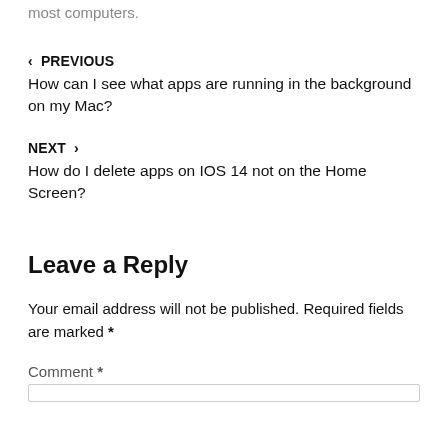most computers.
‹ PREVIOUS
How can I see what apps are running in the background on my Mac?
NEXT ›
How do I delete apps on IOS 14 not on the Home Screen?
Leave a Reply
Your email address will not be published. Required fields are marked *
Comment *